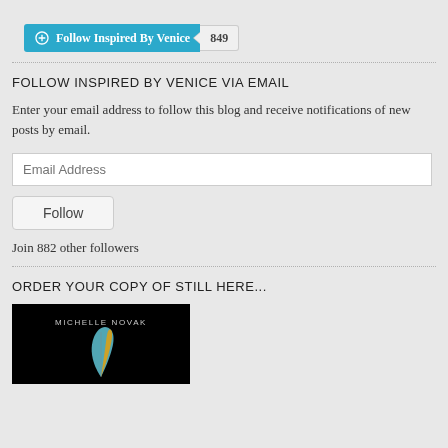[Figure (other): WordPress Follow button with 'Follow Inspired By Venice' text and follower count badge showing 849]
FOLLOW INSPIRED BY VENICE VIA EMAIL
Enter your email address to follow this blog and receive notifications of new posts by email.
[Figure (other): Email address input field with placeholder text 'Email Address']
[Figure (other): Follow button]
Join 882 other followers
ORDER YOUR COPY OF STILL HERE...
[Figure (photo): Book cover image with black background showing author name 'MICHELLE NOVAK' and a feather graphic]